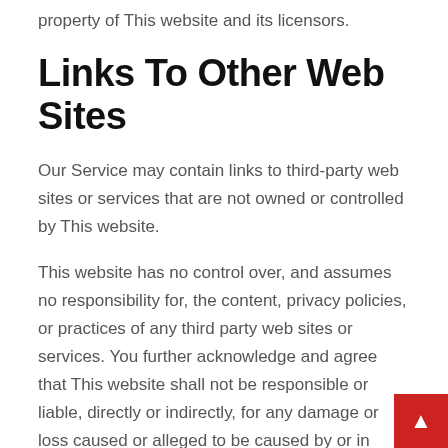property of This website and its licensors.
Links To Other Web Sites
Our Service may contain links to third-party web sites or services that are not owned or controlled by This website.
This website has no control over, and assumes no responsibility for, the content, privacy policies, or practices of any third party web sites or services. You further acknowledge and agree that This website shall not be responsible or liable, directly or indirectly, for any damage or loss caused or alleged to be caused by or in connection with use of or reliance on any such content, goods or services available on or through any such web